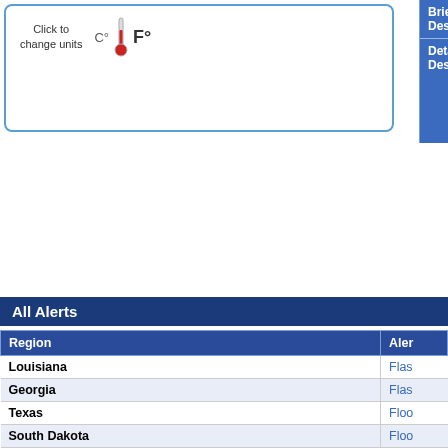[Figure (screenshot): Left panel with click-to-change-units widget showing thermometer icon with C and F degree options]
| Brief Description |  |
| --- | --- |
| Brief Description | Fire Weather Watch |
| Detailed Description | FIRE WEATHER WATCH IN EFFECT SUNDAY AFTERNOON THROUGH SUNDAY EVENING. The National Weather Service has issued a Fire Weather Watch, which is from Sunday afternoon through Sunday... IMPACTS: Low Humidities. Hot Temperatures. Strong Gusty Winds will create erratic fire behavior and new fire starts. * AFFECTED AREA: In WY Fire Zone .415. In West Central WY 414. 416. * COUNTIES AFFECTED: In WY Fremont. In North Central WY. Park. In WY. Lincoln. Sublette. Teton. * WIND: northwest 10 to 20 mph with gusts up... HUMIDITY: As low as 14 percent. * TEMPERATURES: Around 80 in the mountains around 90 in the lower elevations. |
All Alerts
| Region | Aler |
| --- | --- |
| Louisiana | Flas |
| Georgia | Flas |
| Texas | Floo |
| South Dakota | Floo |
| South Carolina | Floo |
| Mississippi | Floo |
| Louisiana | Floo |
| Georgia | Floo |
| Florida | Floo |
| Texas | Urba |
| T... | ... |